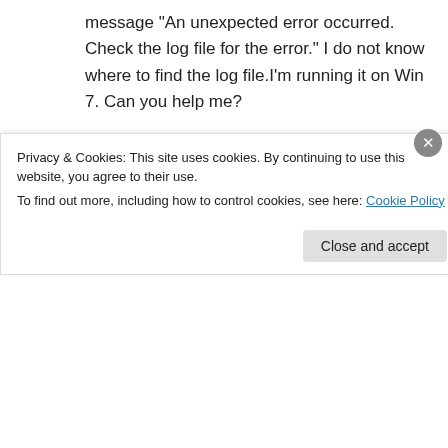message “An unexpected error occurred. Check the log file for the error.” I do not know where to find the log file.I’m running it on Win 7. Can you help me?
↳ Reply
Daisuke Morita on February 16, 2015 at 8:44 am
Could you find the file “piggydb.log” in the
Privacy & Cookies: This site uses cookies. By continuing to use this website, you agree to their use.
To find out more, including how to control cookies, see here: Cookie Policy
Close and accept